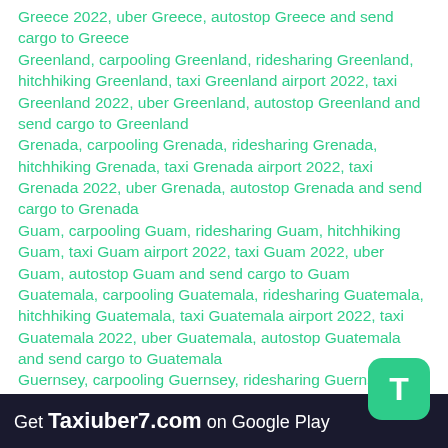Greece 2022, uber Greece, autostop Greece and send cargo to Greece
Greenland, carpooling Greenland, ridesharing Greenland, hitchhiking Greenland, taxi Greenland airport 2022, taxi Greenland 2022, uber Greenland, autostop Greenland and send cargo to Greenland
Grenada, carpooling Grenada, ridesharing Grenada, hitchhiking Grenada, taxi Grenada airport 2022, taxi Grenada 2022, uber Grenada, autostop Grenada and send cargo to Grenada
Guam, carpooling Guam, ridesharing Guam, hitchhiking Guam, taxi Guam airport 2022, taxi Guam 2022, uber Guam, autostop Guam and send cargo to Guam
Guatemala, carpooling Guatemala, ridesharing Guatemala, hitchhiking Guatemala, taxi Guatemala airport 2022, taxi Guatemala 2022, uber Guatemala, autostop Guatemala and send cargo to Guatemala
Guernsey, carpooling Guernsey, ridesharing Guernsey, hitchhiking Guernsey, taxi Guernsey airport 2022, taxi Guernsey 2022, uber Guernsey, autostop Guernsey and send cargo to Guernsey
Guyana, carpooling Guyana, ridesharing Guyana, hitchhiking Guyana, taxi Guyana airport 2022, taxi Guyana 2022, uber Guyana, autostop Guyana and send
Get Taxiuber7.com on Google Play